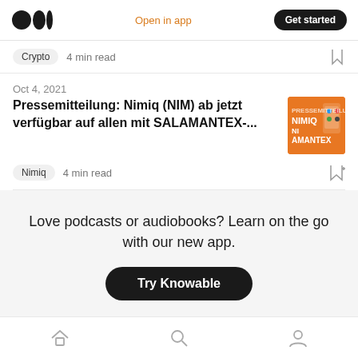Medium logo | Open in app | Get started
Crypto  4 min read
Oct 4, 2021
Pressemitteilung: Nimiq (NIM) ab jetzt verfügbar auf allen mit SALAMANTEX-...
[Figure (photo): Orange thumbnail image showing NIMIQ and AMANTEX branding]
Nimiq  4 min read
Love podcasts or audiobooks? Learn on the go with our new app.
Try Knowable
Home | Search | Profile navigation icons